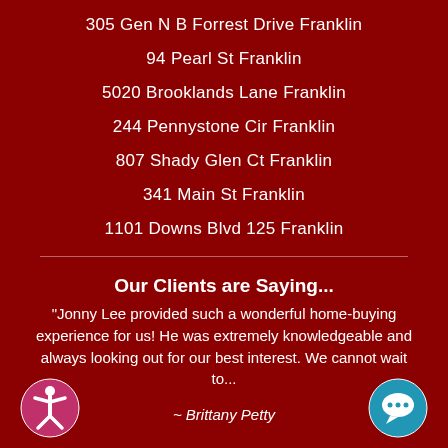305 Gen N B Forrest Drive Franklin
94 Pearl St Franklin
5020 Brooklands Lane Franklin
244 Pennystone Cir Franklin
807 Shady Glen Ct Franklin
341 Main St Franklin
1101 Downs Blvd 125 Franklin
Our Clients are Saying...
"Jonny Lee provided such a wonderful home-buying experience for us! He was extremely knowledgeable and always looking out for our best interest. We cannot wait to...
~ Brittany Petty